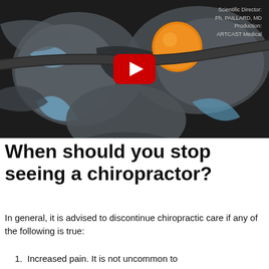[Figure (screenshot): A YouTube video thumbnail showing a medical 3D illustration of spinal anatomy with vertebral discs in blue/grey tones and an orange disc element with a dark tube/nerve. A red YouTube play button is centered. Text overlay in upper right reads 'Scientific Director: Ph. PAILLARD, MD' and 'Production: ARTCAST Medical'.]
When should you stop seeing a chiropractor?
In general, it is advised to discontinue chiropractic care if any of the following is true:
1. Increased pain. It is not uncommon to experience mild discomfort after the initial...